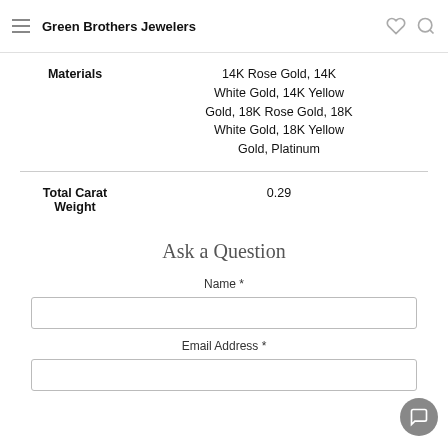Green Brothers Jewelers
| Attribute | Value |
| --- | --- |
| Materials | 14K Rose Gold, 14K White Gold, 14K Yellow Gold, 18K Rose Gold, 18K White Gold, 18K Yellow Gold, Platinum |
| Total Carat Weight | 0.29 |
Ask a Question
Name *
Email Address *